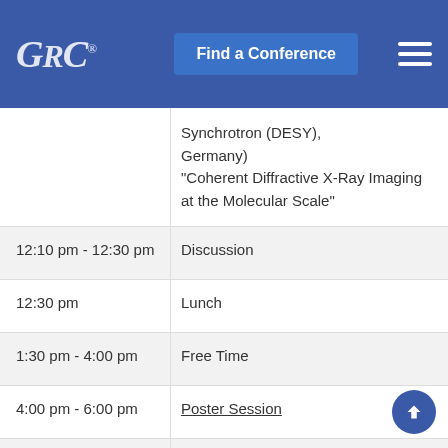GRC® | Find a Conference
| Time | Event |
| --- | --- |
|  | Synchrotron (DESY), Germany) "Coherent Diffractive X-Ray Imaging at the Molecular Scale" |
| 12:10 pm - 12:30 pm | Discussion |
| 12:30 pm | Lunch |
| 1:30 pm - 4:00 pm | Free Time |
| 4:00 pm - 6:00 pm | Poster Session |
| 6:00 pm | Dinner |